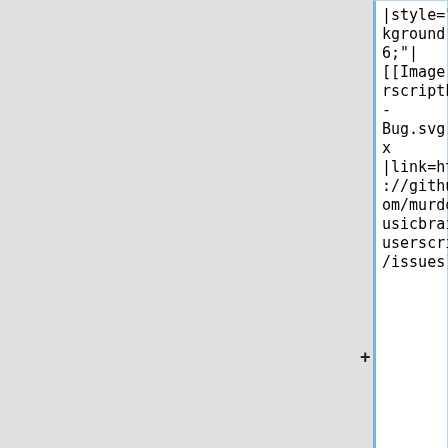|style="background:#f66;"|
[[Image:UserscriptList-Bug.svg|20px
|link=https://github.com/murdos/musicbrainz-userscripts/issues]]
|-
|-
|Import Encyclopedisque releases to MusicBrainz
|Import Encyclopedisque releases to MusicBrainz